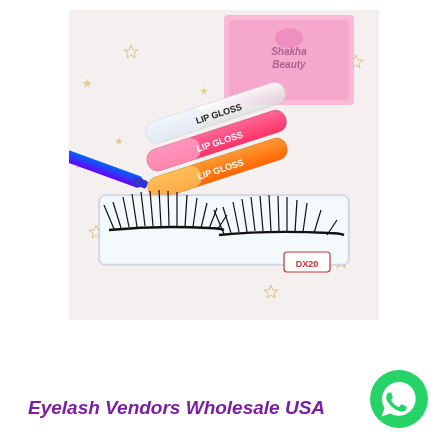[Figure (photo): Product photo showing false eyelashes in a clear tray case, three lip gloss tubes (clear, pink/red, orange), a purple-blue eyelash applicator tool, and a pink Shakha Beauty brand box, on a white sparkly surface with gold star confetti. A label tag reading DX20 or similar is visible on the lash case.]
Eyelash Vendors Wholesale USA
[Figure (logo): WhatsApp logo — green circle with white phone handset icon]